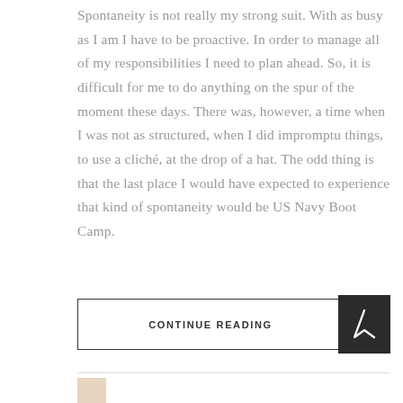Spontaneity is not really my strong suit. With as busy as I am I have to be proactive. In order to manage all of my responsibilities I need to plan ahead. So, it is difficult for me to do anything on the spur of the moment these days. There was, however, a time when I was not as structured, when I did impromptu things, to use a cliché, at the drop of a hat. The odd thing is that the last place I would have expected to experience that kind of spontaneity would be US Navy Boot Camp.
CONTINUE READING
[Figure (logo): Dark square logo with a white arrow/chevron symbol pointing upward]